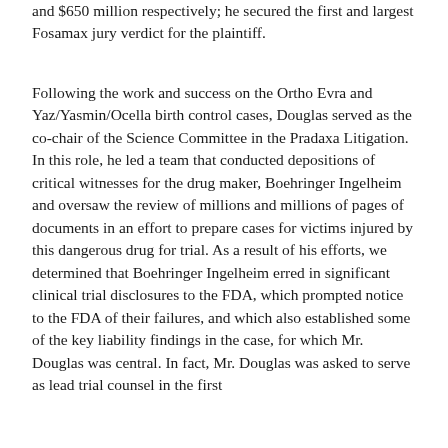and $650 million respectively; he secured the first and largest Fosamax jury verdict for the plaintiff.
Following the work and success on the Ortho Evra and Yaz/Yasmin/Ocella birth control cases, Douglas served as the co-chair of the Science Committee in the Pradaxa Litigation. In this role, he led a team that conducted depositions of critical witnesses for the drug maker, Boehringer Ingelheim and oversaw the review of millions and millions of pages of documents in an effort to prepare cases for victims injured by this dangerous drug for trial. As a result of his efforts, we determined that Boehringer Ingelheim erred in significant clinical trial disclosures to the FDA, which prompted notice to the FDA of their failures, and which also established some of the key liability findings in the case, for which Mr. Douglas was central. In fact, Mr. Douglas was asked to serve as lead trial counsel in the first